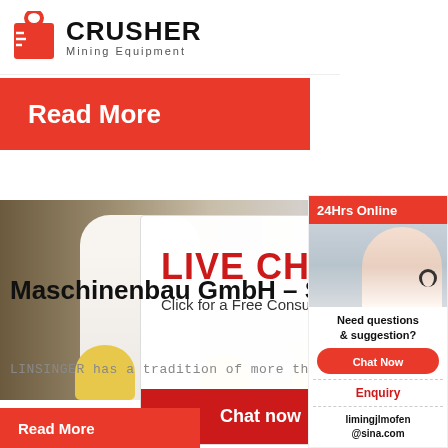[Figure (logo): Crusher Mining Equipment logo with red shopping bag icon]
[Figure (screenshot): Orange Read More button banner]
[Figure (screenshot): Mining equipment image with worker in hard hat and live chat popup overlay showing Chat now and Chat later buttons]
Maschinenbau GmbH – Sawing, Milling-, Rail ...
LINSINGER has a tradition of more than 80 yea...
[Figure (screenshot): Right sidebar: 24Hrs Online banner with customer service rep, Need questions & suggestion? Chat Now button, Enquiry link, limingjlmofen@sina.com email]
[Figure (screenshot): Orange Read More button at bottom]